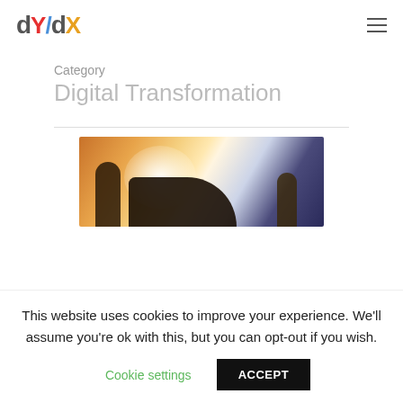dY/dX logo and navigation menu
Category
Digital Transformation
[Figure (photo): Stylized image of toy/figurine silhouettes gathered around a glowing light source on a surface, warm orange tones with dark background on right]
This website uses cookies to improve your experience. We'll assume you're ok with this, but you can opt-out if you wish.
Cookie settings   ACCEPT